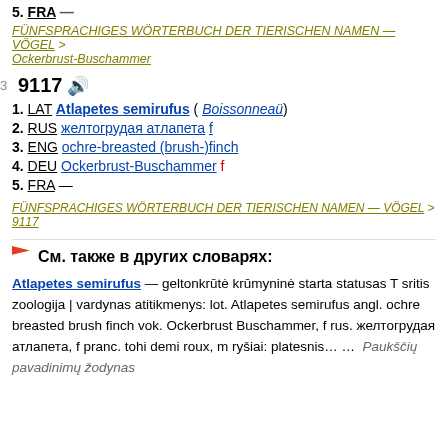5. FRA —
FÜNFSPRACHIGES WÖRTERBUCH DER TIERISCHEN NAMEN — VÖGEL > Ockerbrust-Buschammer
9117
1. LAT Atlapetes semirufus ( Boissonneaü)
2. RUS желтогрудая атлапета f
3. ENG ochre-breasted (brush-)finch
4. DEU Ockerbrust-Buschammer f
5. FRA —
FÜNFSPRACHIGES WÖRTERBUCH DER TIERISCHEN NAMEN — VÖGEL > 9117
См. также в других словарях:
Atlapetes semirufus — geltonkrūtė krūmyninė starta statusas T sritis zoologija | vardynas atitikmenys: lot. Atlapetes semirufus angl. ochre breasted brush finch vok. Ockerbrust Buschammer, f rus. желтогрудая атлапета, f pranc. tohi demi roux, m ryšiai: platesnis… … Paukščių pavadinimų žodynas